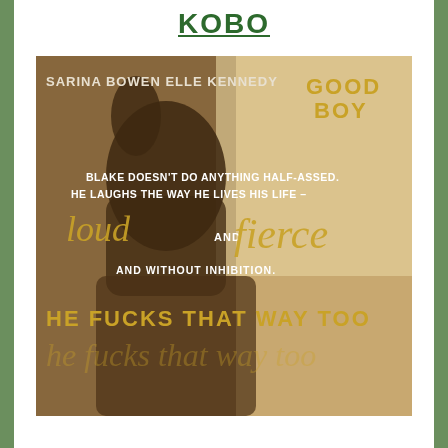KOBO
[Figure (illustration): Book promotional image for 'Good Boy' by Sarina Bowen and Elle Kennedy. Sepia-toned photo of a man reclining with arm raised over face. Text overlaid: 'SARINA BOWEN  ELLE KENNEDY' and 'GOOD BOY' in gold. Quote text: 'BLAKE DOESN'T DO ANYTHING HALF-ASSED. HE LAUGHS THE WAY HE LIVES HIS LIFE – loud and fierce AND WITHOUT INHIBITION. HE FUCKS THAT WAY TOO']